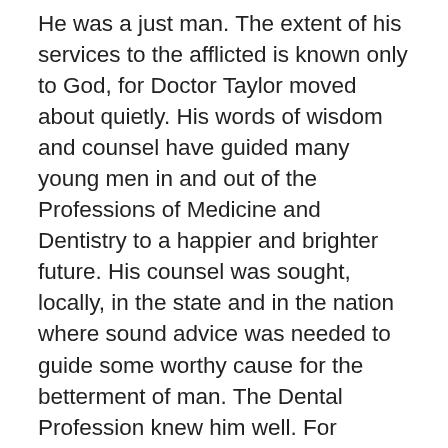He was a just man. The extent of his services to the afflicted is known only to God, for Doctor Taylor moved about quietly. His words of wisdom and counsel have guided many young men in and out of the Professions of Medicine and Dentistry to a happier and brighter future. His counsel was sought, locally, in the state and in the nation where sound advice was needed to guide some worthy cause for the betterment of man. The Dental Profession knew him well. For fourteen years he was on the Faculty of the Texas Dental College as Professor of Oral Surgery. For four years he served also as a member of The Board of Trustees of the Dental College. He played a large part in bringing about the establishment of a Dental Branch of The University of Texas. He made many trips to Austin and other cities in Texas